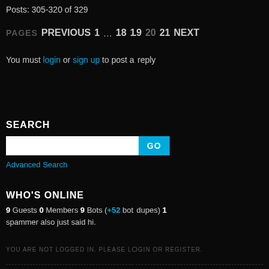Posts: 305-320 of 329
PAGES  PREVIOUS  1  ...  18  19  20  21  NEXT
You must login or sign up to post a reply
SEARCH
Advanced Search
WHO'S ONLINE
9 Guests 0 Members 9 Bots (+52 bot dupes) 1 spammer also just said hi.
YOU ARE NOT LOGGED IN. PLEASE LOGIN OR REGISTER.
Contact Us
Forum Rules and Announcements
View Forum Moderators